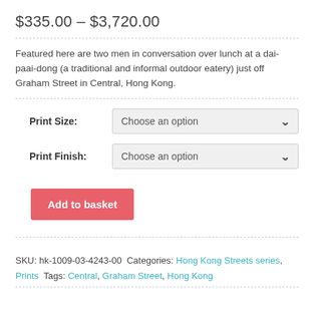$335.00 – $3,720.00
Featured here are two men in conversation over lunch at a dai-paai-dong (a traditional and informal outdoor eatery) just off Graham Street in Central, Hong Kong.
Print Size: Choose an option
Print Finish: Choose an option
Add to basket
SKU: hk-1009-03-4243-00 Categories: Hong Kong Streets series, Prints Tags: Central, Graham Street, Hong Kong